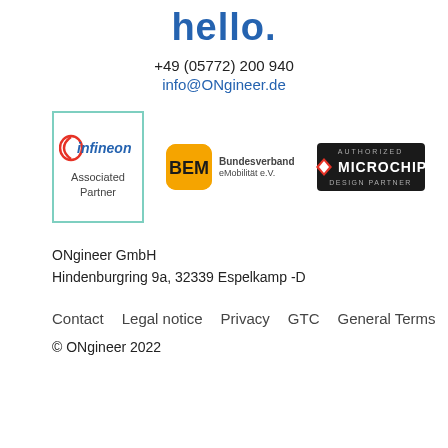hello.
+49 (05772) 200 940
info@ONgineer.de
[Figure (logo): Infineon Associated Partner logo, BEM Bundesverband eMobilität e.V. logo, and Microchip Authorized Design Partner logo]
ONgineer GmbH
Hindenburgring 9a, 32339 Espelkamp -D
Contact    Legal notice    Privacy    GTC    General Terms
© ONgineer 2022